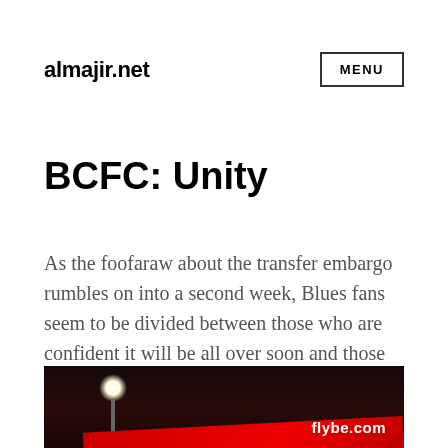almajir.net | MENU
BCFC: Unity
As the foofaraw about the transfer embargo rumbles on into a second week, Blues fans seem to be divided between those who are confident it will be all over soon and those who think the embargo is the end of the world.
[Figure (photo): Night-time stadium photograph showing a bright floodlight and a red advertising banner reading 'flybe.com' against a dark sky]